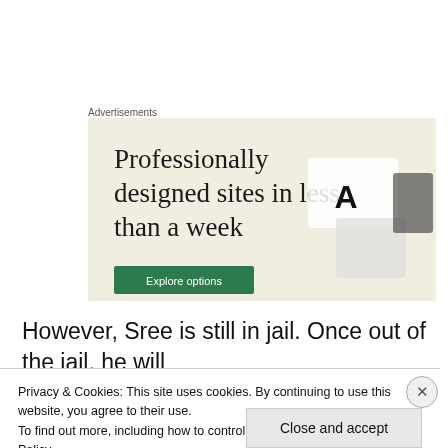Advertisements
[Figure (screenshot): Web advertisement with beige background showing the text 'Professionally designed sites in less than a week' with a green 'Explore options' button and images of website design interfaces on the right.]
However, Sree is still in jail. Once out of the jail, he will
Privacy & Cookies: This site uses cookies. By continuing to use this website, you agree to their use.
To find out more, including how to control cookies, see here: Cookie Policy
Close and accept